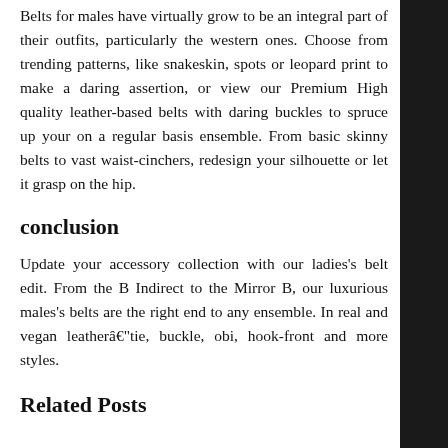Belts for males have virtually grow to be an integral part of their outfits, particularly the western ones. Choose from trending patterns, like snakeskin, spots or leopard print to make a daring assertion, or view our Premium High quality leather-based belts with daring buckles to spruce up your on a regular basis ensemble. From basic skinny belts to vast waist-cinchers, redesign your silhouette or let it grasp on the hip.
conclusion
Update your accessory collection with our ladies's belt edit. From the B Indirect to the Mirror B, our luxurious males's belts are the right end to any ensemble. In real and vegan leatherâ€"tie, buckle, obi, hook-front and more styles.
Related Posts